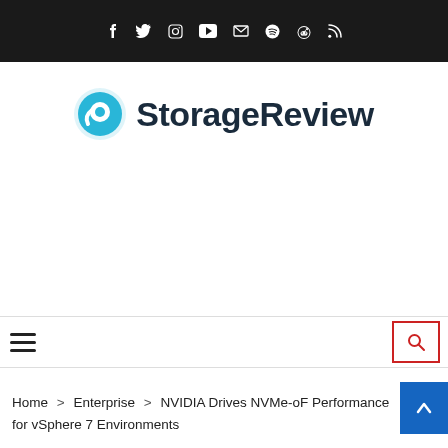Social media icon bar (Facebook, Twitter, Instagram, YouTube, Email, Spotify, Reddit, RSS)
[Figure (logo): StorageReview logo with cyan circular arrow icon and dark text 'StorageReview']
Navigation bar with hamburger menu and search button
Home > Enterprise > NVIDIA Drives NVMe-oF Performance for vSphere 7 Environments